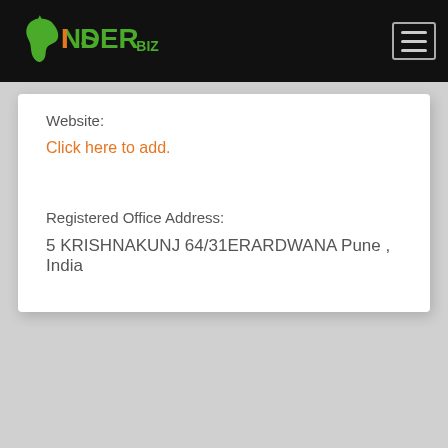[Figure (logo): InsiderBiz logo with India map icon in green/orange and text NSIDERBIZ in green with orange accents]
Website:
Click here to add.
Registered Office Address:
5 KRISHNAKUNJ 64/31ERARDWANA Pune , India